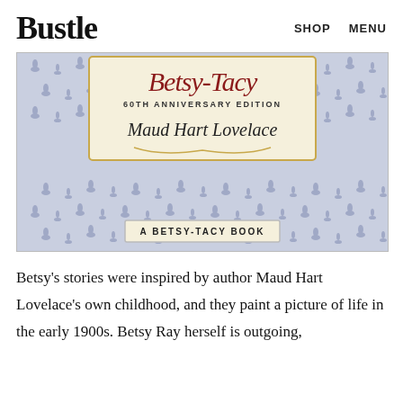Bustle   SHOP   MENU
[Figure (photo): Close-up of the cover of Betsy-Tacy 60th Anniversary Edition by Maud Hart Lovelace. The cover has a blue and white floral pattern background. A cream/ivory label in the center shows the title 'Betsy-Tacy' in red cursive script, '60th Anniversary Edition' in small caps, and 'Maud Hart Lovelace' in decorative script. At the bottom is a banner reading 'A Betsy-Tacy Book'.]
Betsy's stories were inspired by author Maud Hart Lovelace's own childhood, and they paint a picture of life in the early 1900s. Betsy Ray herself is outgoing,